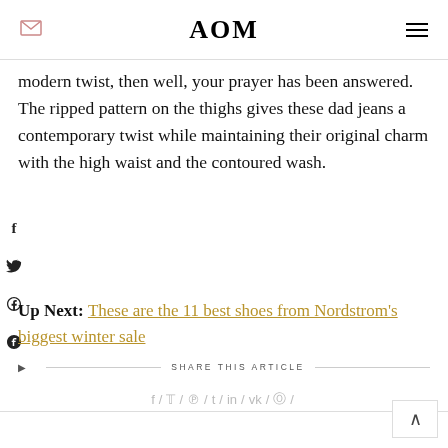AOM
modern twist, then well, your prayer has been answered. The ripped pattern on the thighs gives these dad jeans a contemporary twist while maintaining their original charm with the high waist and the contoured wash.
Up Next: These are the 11 best shoes from Nordstrom's biggest winter sale
SHARE THIS ARTICLE
f / 𝕋 / ℗ / t / in / vk / ⊕ /